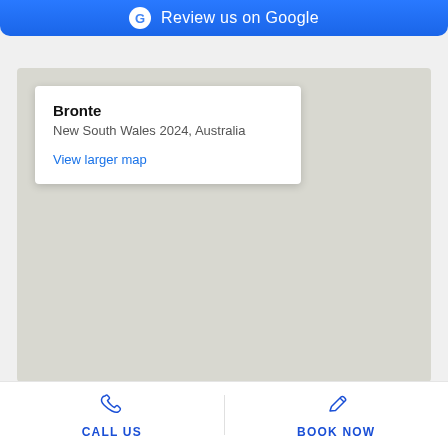[Figure (screenshot): Blue button with Google G logo and text 'Review us on Google']
[Figure (map): Google Maps embed showing Bronte, New South Wales 2024, Australia with a popup info box and 'View larger map' link]
Bronte
New South Wales 2024, Australia
View larger map
[Figure (screenshot): Bottom navigation bar with phone icon and 'CALL US' label and pencil icon and 'BOOK NOW' label]